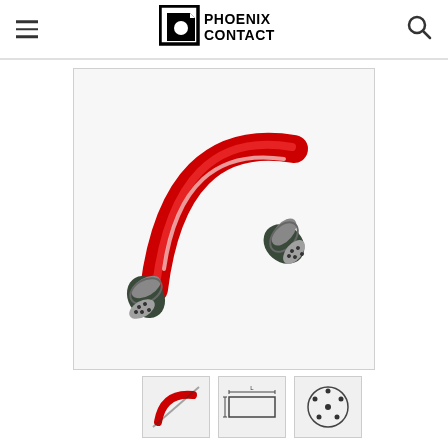Phoenix Contact – navigation header with logo, hamburger menu, and search icon
[Figure (photo): A red cable with two M12 male connectors (5-pin) at both ends, coiled over a white background. The cable has dark grey/green plastic housings on the connectors and a bright red PUR cable jacket. This is a Phoenix Contact industrial M12 cable assembly.]
[Figure (photo): Thumbnail image 1: red cable with diagonal slash mark icon]
[Figure (photo): Thumbnail image 2: technical dimension diagram / schematic of cable]
[Figure (photo): Thumbnail image 3: pin layout / wiring diagram icon]